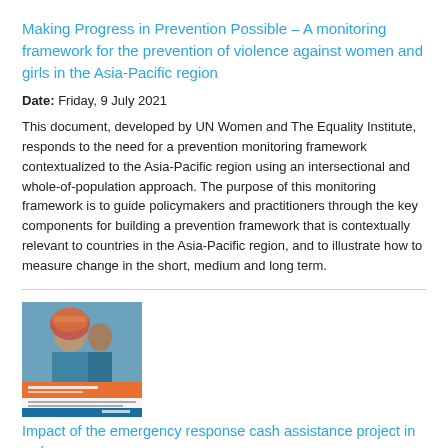Making Progress in Prevention Possible – A monitoring framework for the prevention of violence against women and girls in the Asia-Pacific region
Date: Friday, 9 July 2021
This document, developed by UN Women and The Equality Institute, responds to the need for a prevention monitoring framework contextualized to the Asia-Pacific region using an intersectional and whole-of-population approach. The purpose of this monitoring framework is to guide policymakers and practitioners through the key components for building a prevention framework that is contextually relevant to countries in the Asia-Pacific region, and to illustrate how to measure change in the short, medium and long term.
[Figure (photo): Thumbnail image of a document cover showing a woman wearing a colorful headscarf, with text overlay and an orange/blue design element below]
Impact of the emergency response cash assistance project in wake